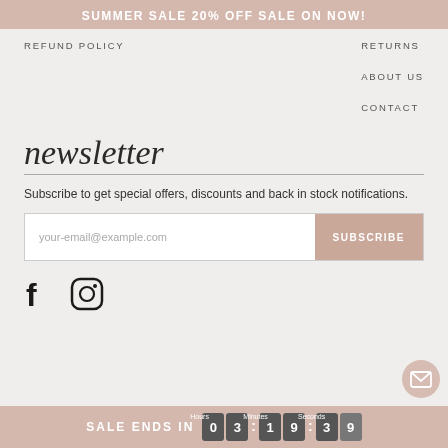SUMMER SALE 20% OFF SALE ON NOW!
REFUND POLICY
SHIPPING INFORMATION
RETURNS
ABOUT US
CONTACT
newsletter
Subscribe to get special offers, discounts and back in stock notifications.
your-email@example.com
SUBSCRIBE
[Figure (infographic): Facebook and Instagram social media icons]
SALE ENDS IN 0 3 : 1 9 : 3 9